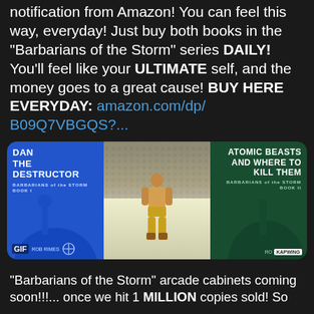notification from Amazon! You can feel this way, everyday! Just buy both books in the "Barbarians of the Storm" series DAILY! You'll feel like your ULTIMATE self, and the money goes to a great cause! BUY HERE EVERYDAY: amazon.com/dp/B09Q7VBGQS?...
[Figure (photo): Three-panel composite image: left panel is a blue book cover 'Dan The Destructor - Barbarians of the Storm Book 1' with fantasy silhouette and GIF label; center panel shows a wrestler in yellow trunks at a wrestling ring; right panel is a green book cover 'Atomic Beasts and Where to Kill Them - Barbarians of the Storm Book II' with creature silhouette and Kapwing watermark]
"Barbarians of the Storm" arcade cabinets coming soon!!!... once we hit 1 MILLION copies sold! So